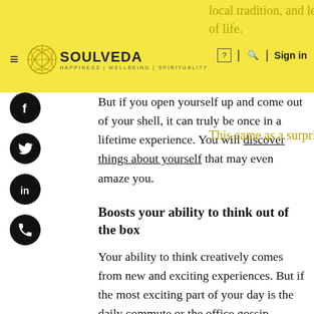SOULVEDA — HAPPINESS | WELLBEING | SPIRITUALITY — Sign in
local tradition, and learning their way of life. This came as a surprise to you initially. But if you open yourself up and come out of your shell, it can truly be once in a lifetime experience. You will discover things about yourself that may even amaze you.
Boosts your ability to think out of the box
Your ability to think creatively comes from new and exciting experiences. But if the most exciting part of your day is the daily commute or the office gossip, coming up with new ideas or thinking out of the box can be hard. This is why you should travel at